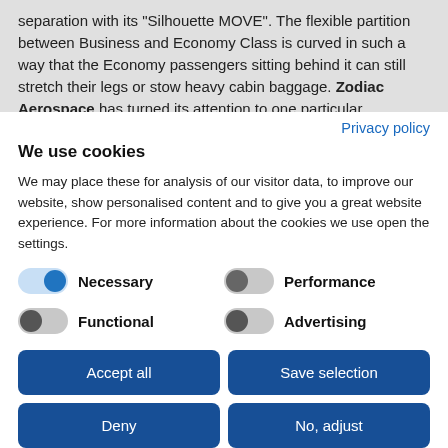separation with its "Silhouette MOVE". The flexible partition between Business and Economy Class is curved in such a way that the Economy passengers sitting behind it can still stretch their legs or stow heavy cabin baggage. Zodiac Aerospace has turned its attention to one particular
Privacy policy
We use cookies
We may place these for analysis of our visitor data, to improve our website, show personalised content and to give you a great website experience. For more information about the cookies we use open the settings.
Necessary
Performance
Functional
Advertising
Accept all
Save selection
Deny
No, adjust